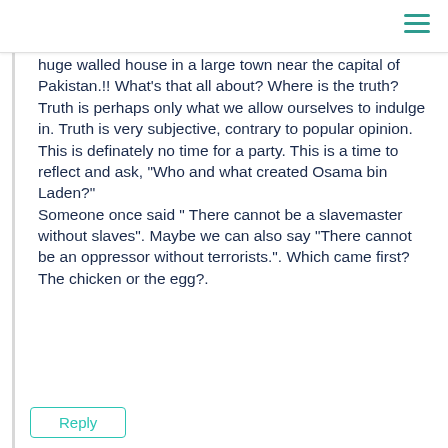huge walled house in a large town near the capital of Pakistan.!! What's that all about? Where is the truth? Truth is perhaps only what we allow ourselves to indulge in. Truth is very subjective, contrary to popular opinion.
This is definately no time for a party. This is a time to reflect and ask, "Who and what created Osama bin Laden?"
Someone once said " There cannot be a slavemaster without slaves". Maybe we can also say "There cannot be an oppressor without terrorists.". Which came first? The chicken or the egg?.
Reply